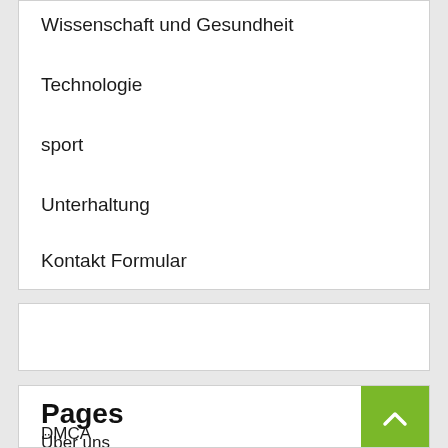Wissenschaft und Gesundheit
Technologie
sport
Unterhaltung
Kontakt Formular
Pages
Über uns
DMCA